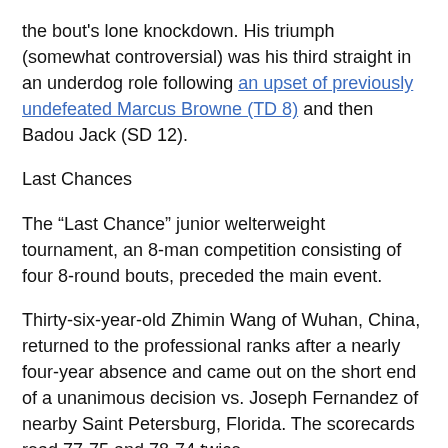the bout's lone knockdown. His triumph (somewhat controversial) was his third straight in an underdog role following an upset of previously undefeated Marcus Browne (TD 8) and then Badou Jack (SD 12).
Last Chances
The “Last Chance” junior welterweight tournament, an 8-man competition consisting of four 8-round bouts, preceded the main event.
Thirty-six-year-old Zhimin Wang of Wuhan, China, returned to the professional ranks after a nearly four-year absence and came out on the short end of a unanimous decision vs. Joseph Fernandez of nearby Saint Petersburg, Florida. The scorecards read 77-75 and 78-74 twice.
The fight started slow but evolved into an entertaining skirmish. Fernandez advanced to 15-4-3. Wang declined